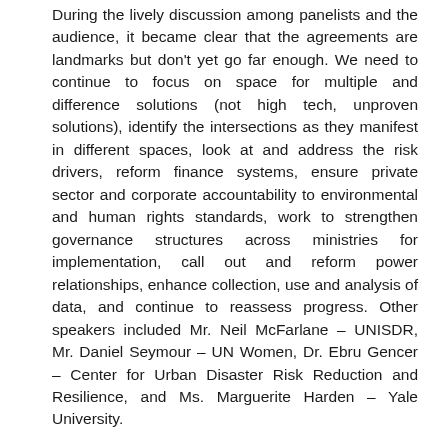During the lively discussion among panelists and the audience, it became clear that the agreements are landmarks but don't yet go far enough. We need to continue to focus on space for multiple and difference solutions (not high tech, unproven solutions), identify the intersections as they manifest in different spaces, look at and address the risk drivers, reform finance systems, ensure private sector and corporate accountability to environmental and human rights standards, work to strengthen governance structures across ministries for implementation, call out and reform power relationships, enhance collection, use and analysis of data, and continue to reassess progress. Other speakers included Mr. Neil McFarlane – UNISDR, Mr. Daniel Seymour – UN Women, Dr. Ebru Gencer – Center for Urban Disaster Risk Reduction and Resilience, and Ms. Marguerite Harden – Yale University.